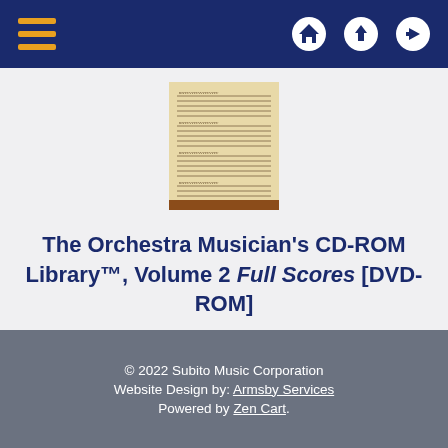Navigation bar with hamburger menu and icons for home, upload, and login
[Figure (illustration): Thumbnail image of a sheet music manuscript page with handwritten musical notation on aged cream paper, with a brown bar at the bottom]
The Orchestra Musician's CD-ROM Library™, Volume 2 Full Scores [DVD-ROM]
© 2022 Subito Music Corporation
Website Design by: Armsby Services
Powered by Zen Cart.